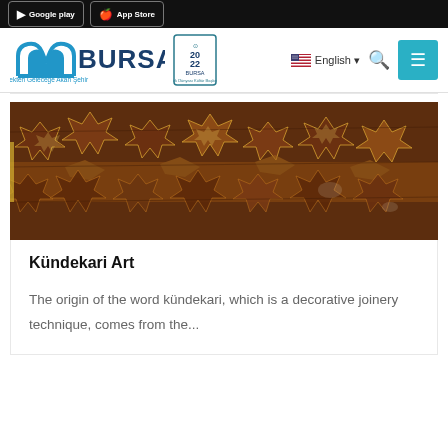[Figure (screenshot): Google Play and App Store download buttons on dark background]
[Figure (logo): Bursa city logo with text 'Gelenekten Geleceğe Akan Şehir' and Bursa 2022 Türk Dünyası Kültür Başkenti logo]
[Figure (screenshot): English language selector with US flag and search icon and teal hamburger menu button]
[Figure (photo): Kündekari Art decorative wooden joinery pattern with geometric star shapes in brown tones]
Kündekari Art
The origin of the word kündekari, which is a decorative joinery technique, comes from the...